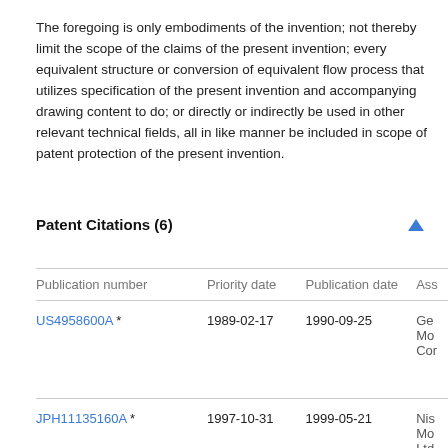The foregoing is only embodiments of the invention; not thereby limit the scope of the claims of the present invention; every equivalent structure or conversion of equivalent flow process that utilizes specification of the present invention and accompanying drawing content to do; or directly or indirectly be used in other relevant technical fields, all in like manner be included in scope of patent protection of the present invention.
Patent Citations (6)
| Publication number | Priority date | Publication date | Ass |
| --- | --- | --- | --- |
| US4958600A * | 1989-02-17 | 1990-09-25 | Ge Mo Cor |
| JPH11135160A * | 1997-10-31 | 1999-05-21 | Nis Mo Ltd |